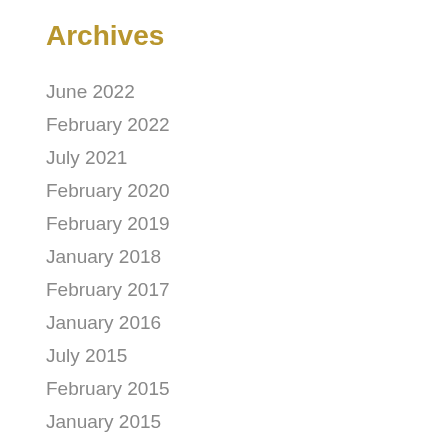Archives
June 2022
February 2022
July 2021
February 2020
February 2019
January 2018
February 2017
January 2016
July 2015
February 2015
January 2015
November 2014
October 2014